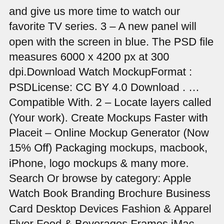and give us more time to watch our favorite TV series. 3 – A new panel will open with the screen in blue. The PSD file measures 6000 x 4200 px at 300 dpi.Download Watch MockupFormat : PSDLicense: CC BY 4.0 Download . … Compatible With. 2 – Locate layers called (Your work). Create Mockups Faster with Placeit – Online Mockup Generator (Now 15% Off) Packaging mockups, macbook, iPhone, logo mockups & many more. Search Or browse by category: Apple Watch Book Branding Brochure Business Card Desktop Devices Fashion & Apparel Flyer Food & Beverages Frames iMac iPad iPhone Logo MacBook … Visual. Give a photorealistic look to your products. For an additional fee of $10, you can download some mockups in PSD. Note: 1. Download: http://www.mediafire.com/file/evexbfnhi81zxrb/MOCKUP_TV_ Faça … Graphics Apple Apple Watch Watch Mockup Mock-up Mock-up Scene Photoshop Smart Object Presentation Psd Ui Ux Creative Market is the world's marketplace for design. Try out a new business idea with this clever branded … Place your own artwork/images on the current photoshop tab/screen. TV and frames on wall By Pixabay. Woman watching TV By unsplash. We are presenting today a 55 inches 4K Smart LED TV screen mockup designed by